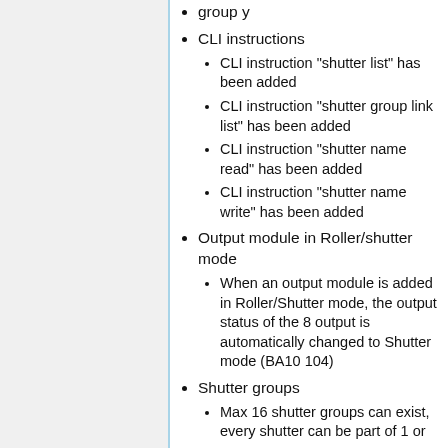group y
CLI instructions
CLI instruction "shutter list" has been added
CLI instruction "shutter group link list" has been added
CLI instruction "shutter name read" has been added
CLI instruction "shutter name write" has been added
Output module in Roller/shutter mode
When an output module is added in Roller/Shutter mode, the output status of the 8 output is automatically changed to Shutter mode (BA10 104)
Shutter groups
Max 16 shutter groups can exist, every shutter can be part of 1 or